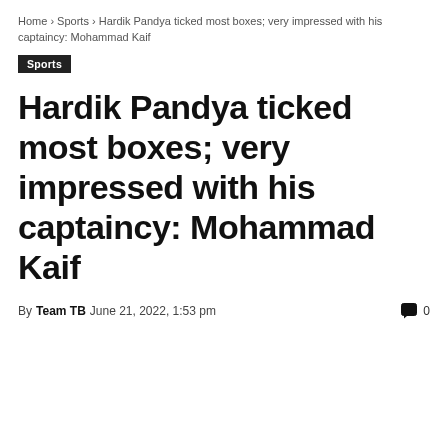Home › Sports › Hardik Pandya ticked most boxes; very impressed with his captaincy: Mohammad Kaif
Sports
Hardik Pandya ticked most boxes; very impressed with his captaincy: Mohammad Kaif
By Team TB June 21, 2022, 1:53 pm  0